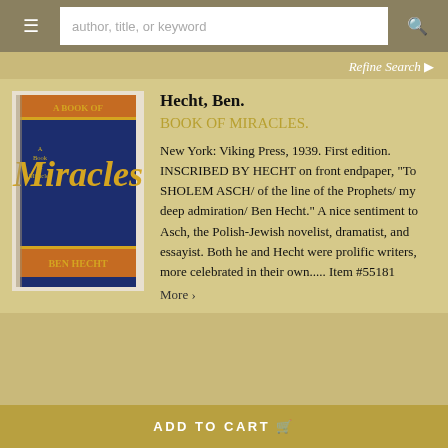author, title, or keyword
Refine Search
[Figure (photo): Book cover of 'A Book of Miracles' by Ben Hecht, spine showing dark blue cover with gold lettering]
Hecht, Ben.
BOOK OF MIRACLES.
New York: Viking Press, 1939. First edition. INSCRIBED BY HECHT on front endpaper, "To SHOLEM ASCH/ of the line of the Prophets/ my deep admiration/ Ben Hecht." A nice sentiment to Asch, the Polish-Jewish novelist, dramatist, and essayist. Both he and Hecht were prolific writers, more celebrated in their own..... Item #55181
More >
ADD TO CART